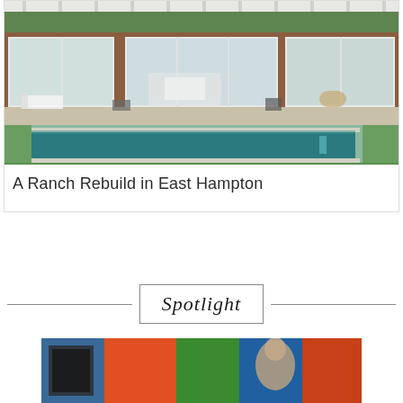[Figure (photo): Exterior photo of a ranch-style house in East Hampton with a modern deck, sliding glass doors, outdoor furniture, and a rectangular pool surrounded by green lawn]
A Ranch Rebuild in East Hampton
Spotlight
[Figure (photo): Partially visible photo below the Spotlight header showing colorful surfaces and a sculptural figure]